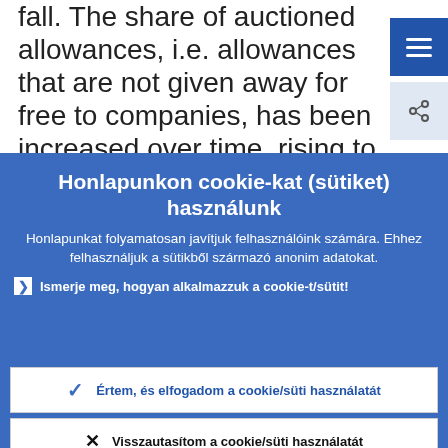fall. The share of auctioned allowances, i.e. allowances that are not given away for free to companies, has been increased over time, rising to 57% in the trading period
Honlapunkon cookie-kat (sütiket) használunk
Honlapunkat folyamatosan javítjuk felhasználóink számára. Ehhez felhasználjuk a sütikből származó anonim adatokat.
Ismerje meg, hogyan alkalmazzuk a cookie-t/sütit!
Értem, és elfogadom a cookie/süti használatát
Visszautasítom a cookie/süti használatát